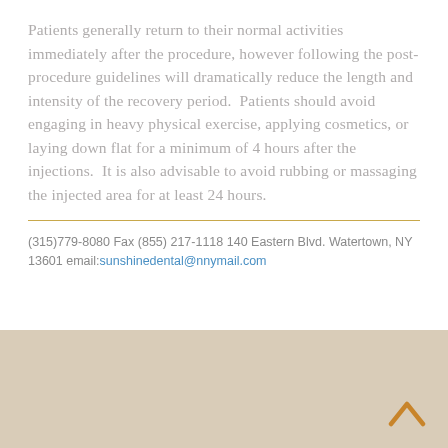Patients generally return to their normal activities immediately after the procedure, however following the post-procedure guidelines will dramatically reduce the length and intensity of the recovery period.  Patients should avoid engaging in heavy physical exercise, applying cosmetics, or laying down flat for a minimum of 4 hours after the injections.  It is also advisable to avoid rubbing or massaging the injected area for at least 24 hours.
(315)779-8080 Fax (855) 217-1118 140 Eastern Blvd. Watertown, NY 13601 email:sunshinedental@nnymail.com